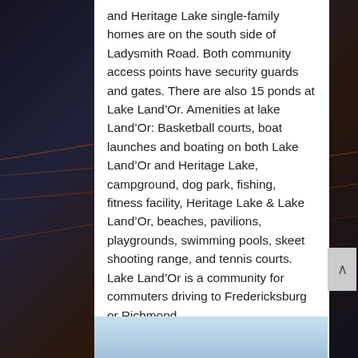and Heritage Lake single-family homes are on the south side of Ladysmith Road. Both community access points have security guards and gates. There are also 15 ponds at Lake Land'Or. Amenities at lake Land'Or: Basketball courts, boat launches and boating on both Lake Land'Or and Heritage Lake, campground, dog park, fishing, fitness facility, Heritage Lake & Lake Land'Or, beaches, pavilions, playgrounds, swimming pools, skeet shooting range, and tennis courts. Lake Land'Or is a community for commuters driving to Fredericksburg or Richmond.
[Figure (photo): Bottom portion of a photo showing a light blue sky, partially visible at the bottom of the page.]